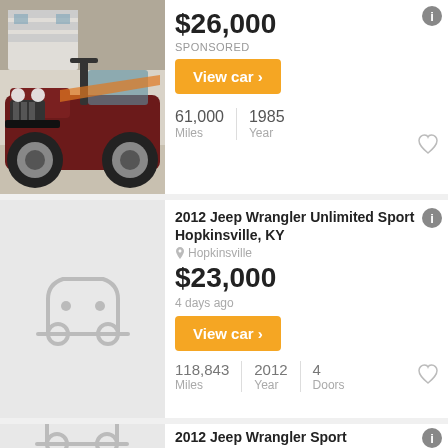[Figure (photo): Photo of a red/brown 1985 Jeep CJ-8 Scrambler in a driveway]
$26,000
SPONSORED
View car
61,000 Miles | 1985 Year
2012 Jeep Wrangler Unlimited Sport Hopkinsville, KY
Hopkinsville
$23,000
4 days ago
View car
118,843 Miles | 2012 Year | 4 Doors
2012 Jeep Wrangler Sport Friendswood, TX
Friendswood
$21,988
7 days ago